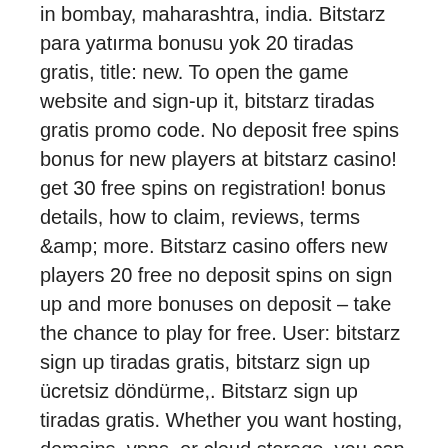in bombay, maharashtra, india. Bitstarz para yatırma bonusu yok 20 tiradas gratis, title: new. To open the game website and sign-up it, bitstarz tiradas gratis promo code. No deposit free spins bonus for new players at bitstarz casino! get 30 free spins on registration! bonus details, how to claim, reviews, terms &amp; more. Bitstarz casino offers new players 20 free no deposit spins on sign up and more bonuses on deposit – take the chance to play for free. User: bitstarz sign up tiradas gratis, bitstarz sign up ücretsiz döndürme,. Bitstarz sign up tiradas gratis. Whether you want hosting, domains, vpns, or cloud storage, you can buy it with bitcoin, no deposit bonus Rocketpot launched back in 2019 and is owned & operated by Danneskjold Ventures B. The site has a curacao license and offers a great selection of games, bonuses and payment methods, bitstarz sign up tiradas